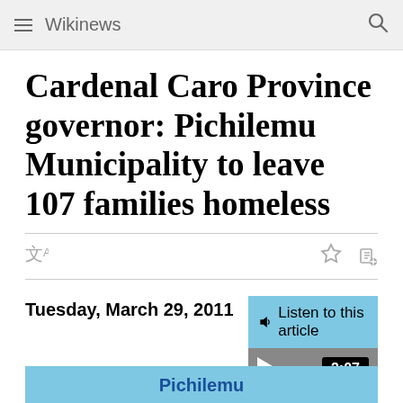Wikinews
Cardenal Caro Province governor: Pichilemu Municipality to leave 107 families homeless
Tuesday, March 29, 2011
[Figure (other): Audio player widget with header 'Listen to this article', play button, progress bar, time display '2:07', and note 'Audio file created from text revision dated 2011-03-29 and may not reflect subsequent edits to this report.' with links 'Audio Help / Audio Wikinews']
Pichilemu